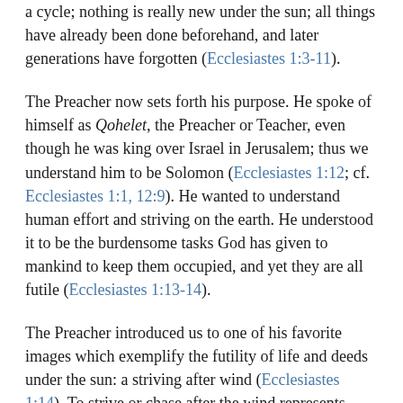a cycle; nothing is really new under the sun; all things have already been done beforehand, and later generations have forgotten (Ecclesiastes 1:3-11).
The Preacher now sets forth his purpose. He spoke of himself as Qohelet, the Preacher or Teacher, even though he was king over Israel in Jerusalem; thus we understand him to be Solomon (Ecclesiastes 1:12; cf. Ecclesiastes 1:1, 12:9). He wanted to understand human effort and striving on the earth. He understood it to be the burdensome tasks God has given to mankind to keep them occupied, and yet they are all futile (Ecclesiastes 1:13-14).
The Preacher introduced us to one of his favorite images which exemplify the futility of life and deeds under the sun: a striving after wind (Ecclesiastes 1:14). To strive or chase after the wind represents sheer folly: how could you catch the wind? It continues to blow across the earth; you cannot expect to grab ahold of it; and even if one could theoretically capture wind, it would immediately cease being the wind!
Humans bristle at the thought that all their work ultimately does not mean much and that we strive after wind. We tell ourselves motivational and uplifting platitudes about how what we do will